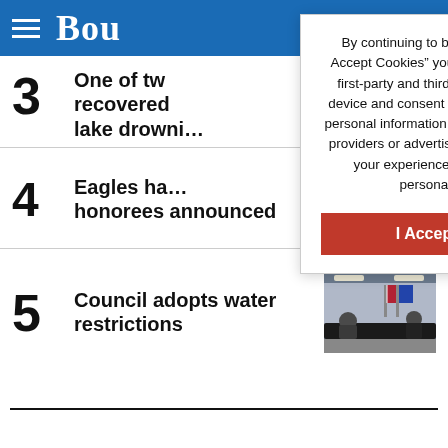Bou
By continuing to browse or by clicking “I Accept Cookies” you agree to the storing of first-party and third-party cookies on your device and consent to the disclosure of your personal information to our third party service providers or advertising partners to optimize your experience, analyze traffic and personalize content.
I Accept Cookies
3 One of tw… recovered… lake drowni…
4 Eagles ha… honorees announced
[Figure (photo): Sports equipment including soccer ball, baseball glove, football, and volleyball on green surface]
5 Council adopts water restrictions
[Figure (photo): Council meeting room with people seated at a table, flags in background]